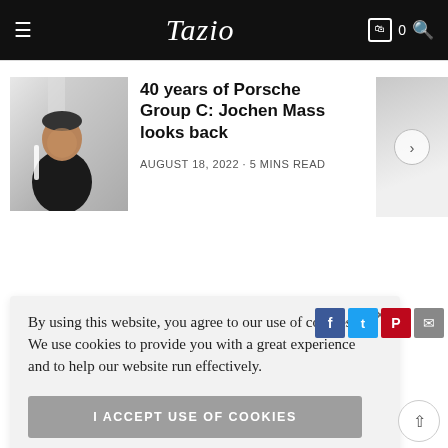Tazio
40 years of Porsche Group C: Jochen Mass looks back
AUGUST 18, 2022 · 5 MINS READ
[Figure (photo): Photo of Jochen Mass in a black racing jacket, sitting, black and white tones]
By using this website, you agree to our use of cookies. We use cookies to provide you with a great experience and to help our website run effectively.
I ACCEPT USE OF COOKIES